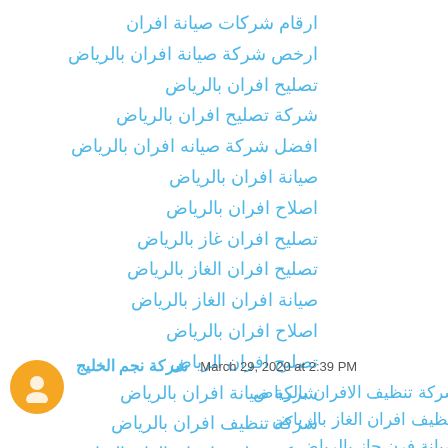ارقام شركات صيانة افران
ارخص شركة صيانة افران بالرياض
تصليح افران بالرياض
شركة تصليح افران بالرياض
افضل شركة صيانه افران بالرياض
صيانة افران بالرياض
اصلاح افران بالرياض
تصليح افران غاز بالرياض
تصليح افران الغاز بالرياض
صيانة افران الغاز بالرياض
اصلاح افران بالرياض
تصليح افران الرياض
شركة صيانة افران بالرياض
شركة تنظيف افران بالرياض
شركة تنظيف افران الغاز بالرياض
Reply
شركة نجم الخليج  March 29, 2020 at 2:39 PM
شركة تنظيف الافران بالرياض
تنظيف افران الغاز بالرياض
صيانة فرن جاز بالرياض